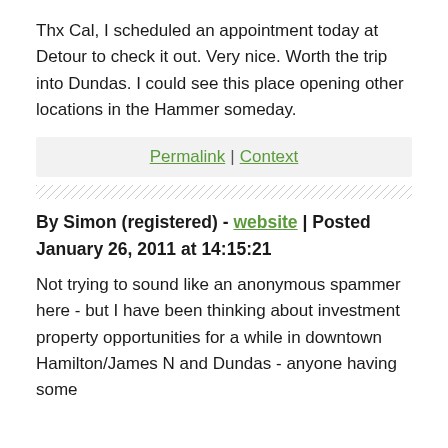Thx Cal, I scheduled an appointment today at Detour to check it out. Very nice. Worth the trip into Dundas. I could see this place opening other locations in the Hammer someday.
Permalink | Context
By Simon (registered) - website | Posted January 26, 2011 at 14:15:21
Not trying to sound like an anonymous spammer here - but I have been thinking about investment property opportunities for a while in downtown Hamilton/James N and Dundas - anyone having some